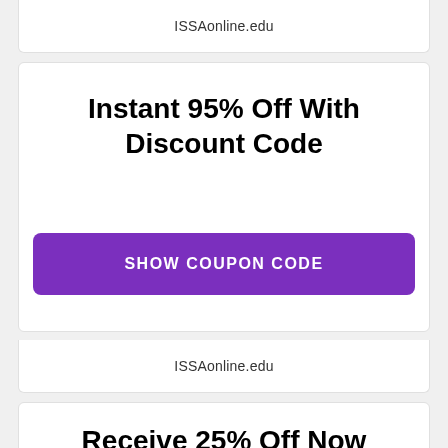ISSAonline.edu
Instant 95% Off With Discount Code
SHOW COUPON CODE
ISSAonline.edu
Receive 25% Off Now
SHOW COUPON CODE